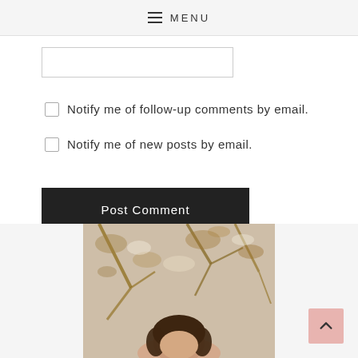MENU
Notify me of follow-up comments by email.
Notify me of new posts by email.
Post Comment
[Figure (photo): Portrait photo of a person outdoors with blurred natural background (branches/foliage)]